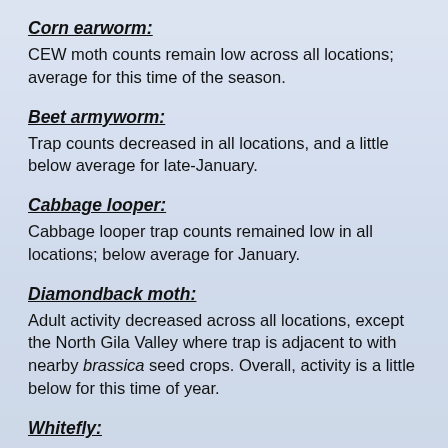Corn earworm:
CEW moth counts remain low across all locations; average for this time of the season.
Beet armyworm:
Trap counts decreased in all locations, and a little below average for late-January.
Cabbage looper:
Cabbage looper trap counts remained low in all locations; below average for January.
Diamondback moth:
Adult activity decreased across all locations, except the North Gila Valley where trap is adjacent to with nearby brassica seed crops. Overall, activity is a little below for this time of year.
Whitefly: